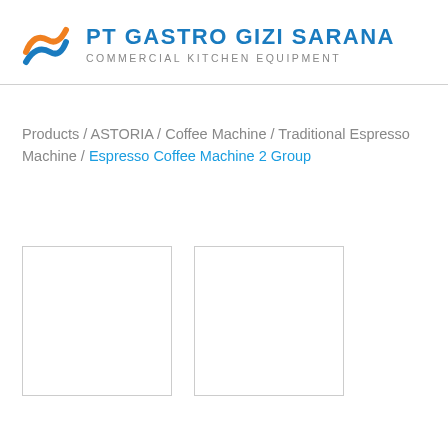PT GASTRO GIZI SARANA | COMMERCIAL KITCHEN EQUIPMENT
Products / ASTORIA / Coffee Machine / Traditional Espresso Machine / Espresso Coffee Machine 2 Group
[Figure (other): Two empty thumbnail image boxes side by side, with light gray borders, representing product images for Espresso Coffee Machine 2 Group]